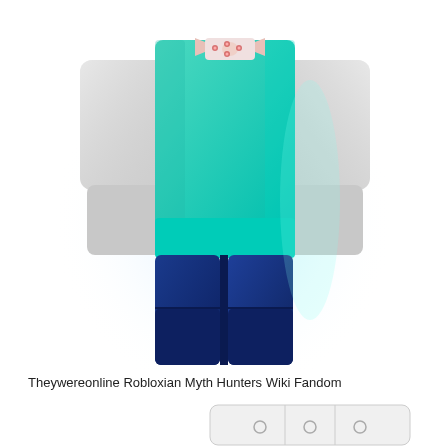[Figure (illustration): A Roblox character outfit displayed from a front-facing angle. The character wears a teal/cyan top with a decorative floral bow tie accessory at the collar, white blocky arms on each side, and dark navy blue pants/legs. The background is white with a subtle bluish glow behind the figure.]
Theywereonline Robloxian Myth Hunters Wiki Fandom
[Figure (illustration): A partially visible Roblox character or object at the bottom of the page, appearing white/light gray with some dark circular details, cropped at the page edge.]